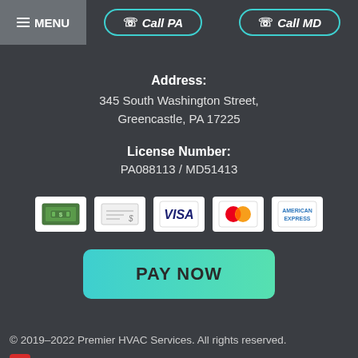≡ MENU  ☏ Call PA  ☏ Call MD
Address:
345 South Washington Street,
Greencastle, PA 17225
License Number:
PA088113 / MD51413
[Figure (other): Payment method icons: cash/money, check, Visa, Mastercard, American Express]
[Figure (other): PAY NOW button with teal gradient background]
© 2019–2022 Premier HVAC Services. All rights reserved.
iMarket Solutions: Dedicated to Contractor Success